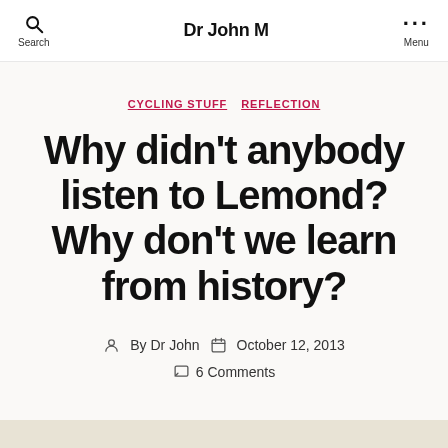Dr John M
CYCLING STUFF  REFLECTION
Why didn't anybody listen to Lemond? Why don't we learn from history?
By Dr John  October 12, 2013  6 Comments